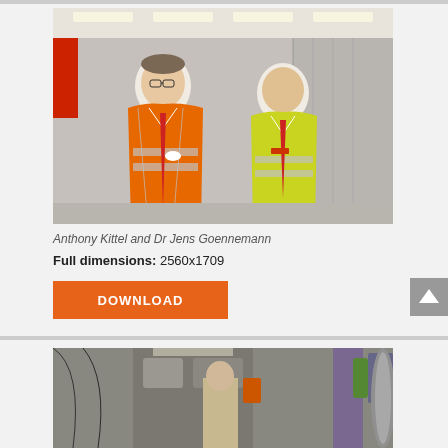[Figure (photo): Two men in high-visibility safety vests standing in an industrial/manufacturing facility. Left man wears an orange vest, right man wears a yellow-green vest. Both wear white shirts and red ties.]
Anthony Kittel and Dr Jens Goennemann
Full dimensions: 2560x1709
DOWNLOAD
[Figure (photo): Close-up view of industrial machinery and equipment in a manufacturing facility, with a person visible in the background.]